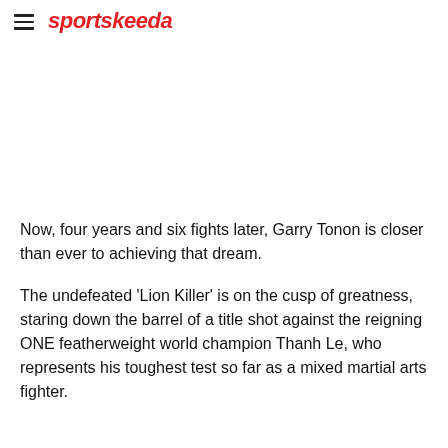sportskeeda
Now, four years and six fights later, Garry Tonon is closer than ever to achieving that dream.
The undefeated 'Lion Killer' is on the cusp of greatness, staring down the barrel of a title shot against the reigning ONE featherweight world champion Thanh Le, who represents his toughest test so far as a mixed martial arts fighter.